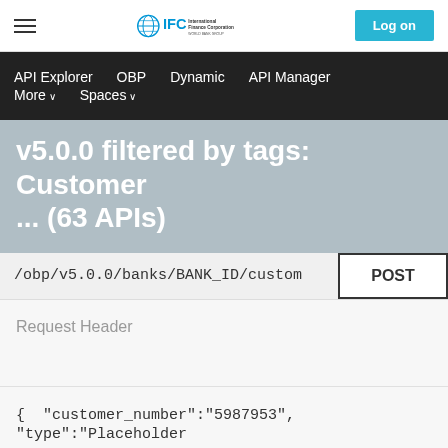IFC International Finance Corporation — Log on
API Explorer   OBP   Dynamic   API Manager   More   Spaces
v5.0.0 filtered by tags: Customer ... (63 APIs)
/obp/v5.0.0/banks/BANK_ID/custom   POST
Request Header
{  "customer_number":"5987953",  "type":"Placeholder
Typical Successful Response: